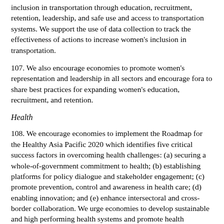inclusion in transportation through education, recruitment, retention, leadership, and safe use and access to transportation systems. We support the use of data collection to track the effectiveness of actions to increase women's inclusion in transportation.
107. We also encourage economies to promote women's representation and leadership in all sectors and encourage fora to share best practices for expanding women's education, recruitment, and retention.
Health
108. We encourage economies to implement the Roadmap for the Healthy Asia Pacific 2020 which identifies five critical success factors in overcoming health challenges: (a) securing a whole-of-government commitment to health; (b) establishing platforms for policy dialogue and stakeholder engagement; (c) promote prevention, control and awareness in health care; (d) enabling innovation; and (e) enhance intersectoral and cross-border collaboration. We urge economies to develop sustainable and high performing health systems and promote health development and well-being through a holistic approach with a view to achieving Universal Health Coverage as outlined in the statement from the 5th High-Level Meeting on Health and the Economy. We recommend convening a cross-fora dialogue in 2016 to discuss